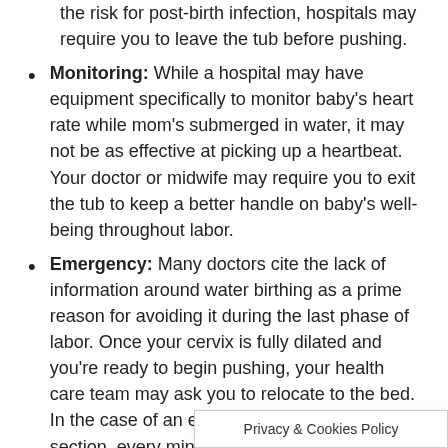the risk for post-birth infection, hospitals may require you to leave the tub before pushing.
Monitoring: While a hospital may have equipment specifically to monitor baby's heart rate while mom's submerged in water, it may not be as effective at picking up a heartbeat. Your doctor or midwife may require you to exit the tub to keep a better handle on baby's well-being throughout labor.
Emergency: Many doctors cite the lack of information around water birthing as a prime reason for avoiding it during the last phase of labor. Once your cervix is fully dilated and you're ready to begin pushing, your health care team may ask you to relocate to the bed. In the case of an emergency Cesarean section, every minute counts to get you to the operating room
Privacy & Cookies Policy